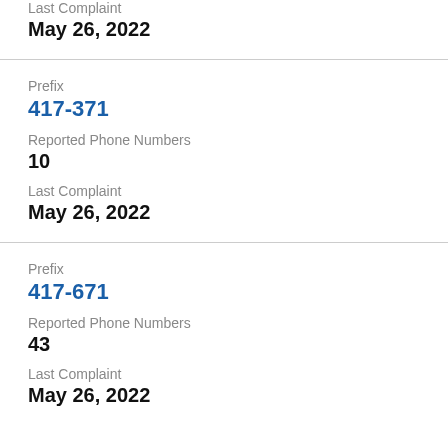Last Complaint
May 26, 2022
Prefix
417-371
Reported Phone Numbers
10
Last Complaint
May 26, 2022
Prefix
417-671
Reported Phone Numbers
43
Last Complaint
May 26, 2022